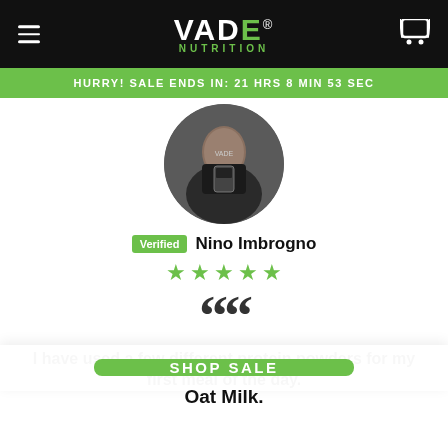VADE NUTRITION
HURRY! SALE ENDS IN: 21 HRS 8 MIN 53 SEC
[Figure (photo): Circular profile photo of Nino Imbrogno, a muscular man in a dark Vade Nutrition t-shirt, holding a small clear container in a kitchen setting.]
Verified Nino Imbrogno
★★★★★ (5 stars)
I have used a few different protein powders for my first meal of the day.
SHOP SALE
Oat Milk.